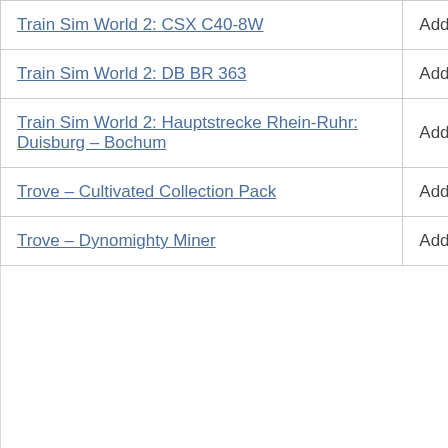| Title | Type |
| --- | --- |
| Train Sim World 2: CSX C40-8W | Add-On |
| Train Sim World 2: DB BR 363 | Add-On |
| Train Sim World 2: Hauptstrecke Rhein-Ruhr: Duisburg – Bochum | Add-On |
| Trove – Cultivated Collection Pack | Add-On |
| Trove – Dynomighty Miner | Add-On |